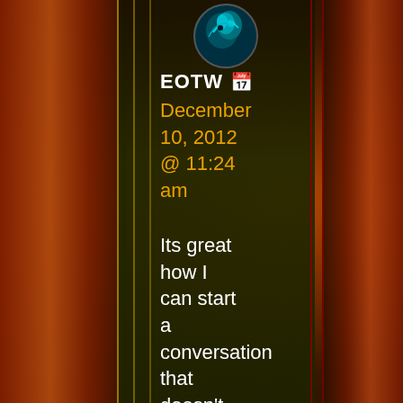[Figure (photo): Circular avatar icon showing a stylized fantasy character/creature with blue-green teal coloring against a dark background]
EOTW 📅
December 10, 2012 @ 11:24 am
Its great how I can start a conversation that doesn't involve me whatsoever. I was wondering